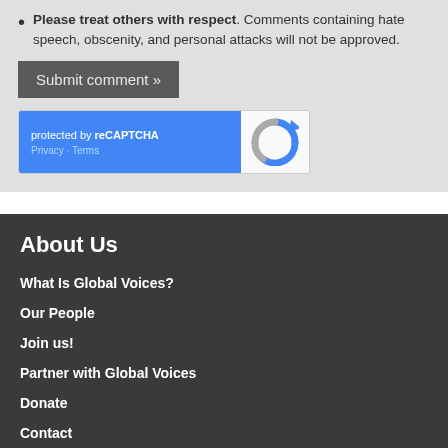Please treat others with respect. Comments containing hate speech, obscenity, and personal attacks will not be approved.
Submit comment »
[Figure (other): reCAPTCHA widget with blue left panel showing 'protected by reCAPTCHA' and Privacy/Terms links, and white right panel with reCAPTCHA logo]
About Us
What Is Global Voices?
Our People
Join us!
Partner with Global Voices
Donate
Contact